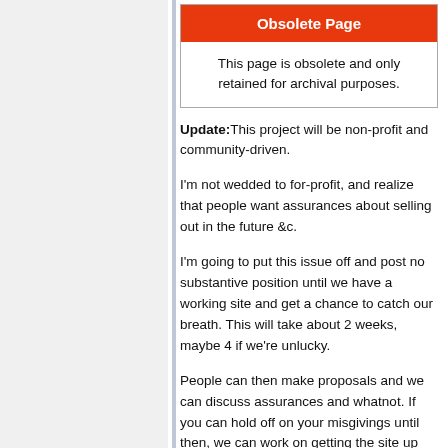[Figure (infographic): Obsolete Page notice box with red header and white body text]
Update: This project will be non-profit and community-driven.
I'm not wedded to for-profit, and realize that people want assurances about selling out in the future &c.
I'm going to put this issue off and post no substantive position until we have a working site and get a chance to catch our breath. This will take about 2 weeks, maybe 4 if we're unlucky.
People can then make proposals and we can discuss assurances and whatnot. If you can hold off on your misgivings until then, we can work on getting the site up